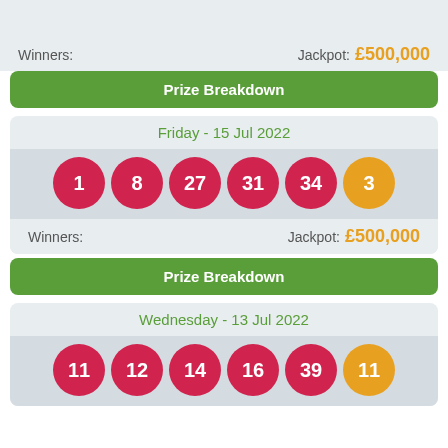Winners:    Jackpot: £500,000
Prize Breakdown
Friday - 15 Jul 2022
[Figure (infographic): Lottery balls: 1, 8, 27, 31, 34 (red) and 3 (gold/bonus)]
Winners:    Jackpot: £500,000
Prize Breakdown
Wednesday - 13 Jul 2022
[Figure (infographic): Lottery balls: 11, 12, 14, 16, 39 (red) and 11 (gold/bonus)]